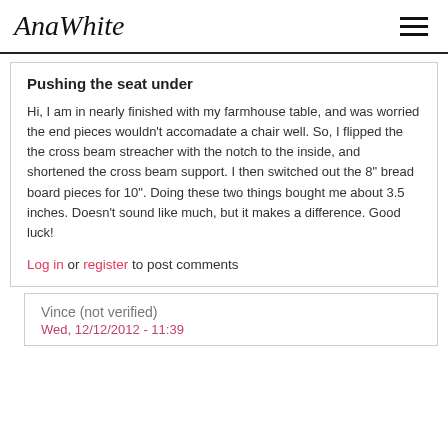AnaWhite
Pushing the seat under
Hi, I am in nearly finished with my farmhouse table, and was worried the end pieces wouldn't accomadate a chair well. So, I flipped the the cross beam streacher with the notch to the inside, and shortened the cross beam support. I then switched out the 8" bread board pieces for 10". Doing these two things bought me about 3.5 inches. Doesn't sound like much, but it makes a difference. Good luck!
Log in or register to post comments
Vince (not verified)
Wed, 12/12/2012 - 11:39